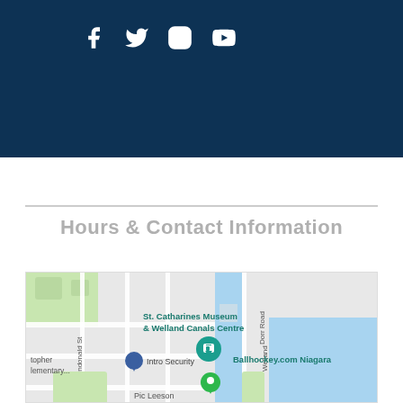[Figure (other): Dark navy blue header bar with social media icons (Facebook, Twitter, Instagram, YouTube) in white]
Hours & Contact Information
[Figure (map): Google Maps showing St. Catharines Museum & Welland Canals Centre area, with pins for Intro Security and Ballhockey.com Niagara, Dorr Road visible, Dundonald St visible, Welland canal waterway, Pic Leeson label]